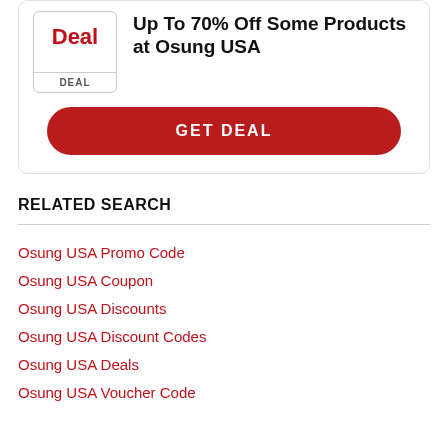[Figure (other): Deal badge box with red bold text 'Deal' and label 'DEAL' at bottom]
Up To 70% Off Some Products at Osung USA
GET DEAL
RELATED SEARCH
Osung USA Promo Code
Osung USA Coupon
Osung USA Discounts
Osung USA Discount Codes
Osung USA Deals
Osung USA Voucher Code